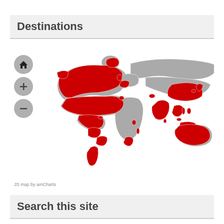Destinations
[Figure (map): Interactive world map showing destinations highlighted in red. North America (USA, Canada, parts of Mexico), South America (Argentina, Colombia, others), parts of Europe, Middle East, India, Southeast Asia, China, Japan, Australia highlighted in red. Grey regions are non-highlighted countries. Map controls (home, zoom in, zoom out) shown on left side.]
JS map by amCharts
Search this site